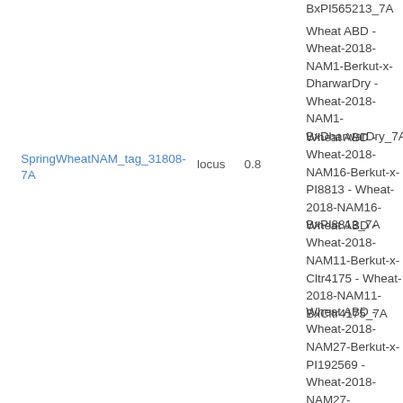BxPI565213_7A
Wheat ABD - Wheat-2018-NAM1-Berkut-x-DharwarDry - Wheat-2018-NAM1-BxDharwarDry_7A
SpringWheatNAM_tag_31808-7A
locus
0.8
Wheat ABD - Wheat-2018-NAM16-Berkut-x-PI8813 - Wheat-2018-NAM16-BxPI8813_7A
Wheat ABD - Wheat-2018-NAM11-Berkut-x-Cltr4175 - Wheat-2018-NAM11-BxCltr4175_7A
Wheat ABD - Wheat-2018-NAM27-Berkut-x-PI192569 - Wheat-2018-NAM27-BxPI192569_7A